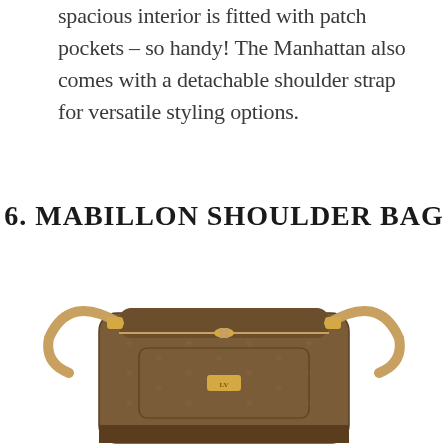The front of the bag has five pockets, while the spacious interior is fitted with patch pockets – so handy! The Manhattan also comes with a detachable shoulder strap for versatile styling options.
6. MABILLON SHOULDER BAG
[Figure (photo): Photo of a Louis Vuitton Mabillon Shoulder Bag with monogram canvas and gold hardware, shown from the front with a shoulder strap visible]